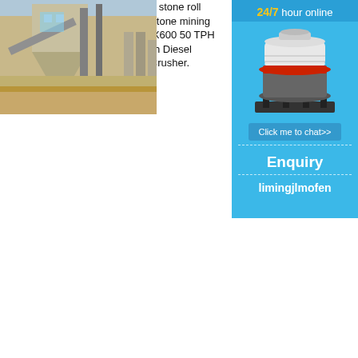[Figure (photo): Industrial roll mining mill facility with blue steel structures and conveyor belts, outdoor setting.]
Roll Mining Mill For Quartz Mining
Roll Mining Mill For Quartz Mining stone roll mining mill china supplier quarry stone mining mill Mining Ma... 250X400 Pe400X600 50 TPH Stone Crush... e Jaw Crusher With Diesel Generator. With M... Stone. Jaw Crusher. $5,500.00 / Set. 1 Set...
Read More
[Figure (photo): ETM Grinding Mill for Calcium Carbonate - industrial grinding machinery photo, outdoor.]
ETM Grinding Mill for Calcium Carbonate
[Figure (infographic): Sidebar advertisement: 24/7 hour online with cone crusher image, Click me to chat>> button, Enquiry section, limingjlmofen branding.]